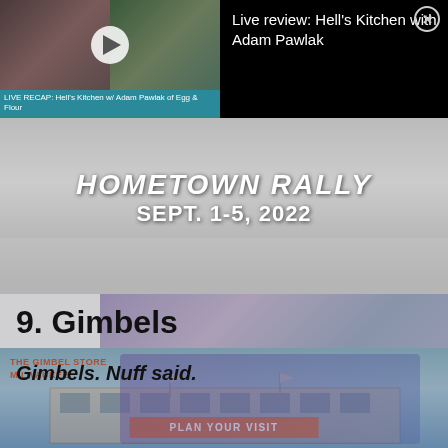[Figure (screenshot): Notification bar showing a live review video thumbnail with two people and a play button. Caption reads 'LIVE RECAP: Hell's Kitchen w/ Adam Pawlak of Egg & Flour'. Title area says 'Live review: Hell's Kitchen with Adam Pawlak' with a close (X) button.]
Live review: Hell's Kitchen with Adam Pawlak
LIVE RECAP: Hell's Kitchen w/ Adam Pawlak of Egg & Flour
[Figure (photo): Black and white snowy street scene with text overlay reading 'HOMETOWN RALLY SEPT. 1-5, 2022']
9. Gimbels
Gimbels. Nuff said.
[Figure (photo): Vintage-style image of The Gimbel Store Milwaukee building exterior with a 'PLAN YOUR VISIT' orange button overlay]